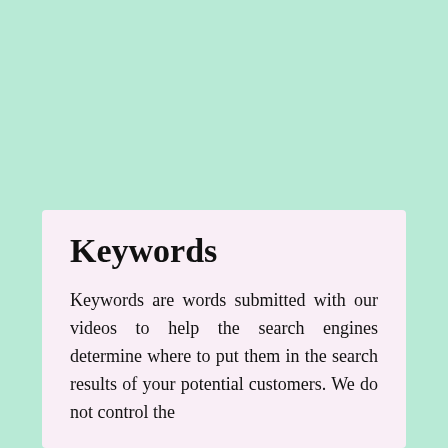Keywords
Keywords are words submitted with our videos to help the search engines determine where to put them in the search results of your potential customers. We do not control the